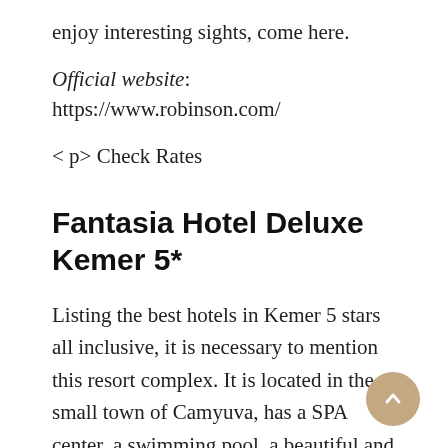enjoy interesting sights, come here.
Official website: https://www.robinson.com/
< p> Check Rates
Fantasia Hotel Deluxe Kemer 5*
Listing the best hotels in Kemer 5 stars all inclusive, it is necessary to mention this resort complex. It is located in the small town of Camyuva, has a SPA center, a swimming pool, a beautiful and spacious area. An important advantage of the Fantasia Hotel Deluxe Kemer is the fact that